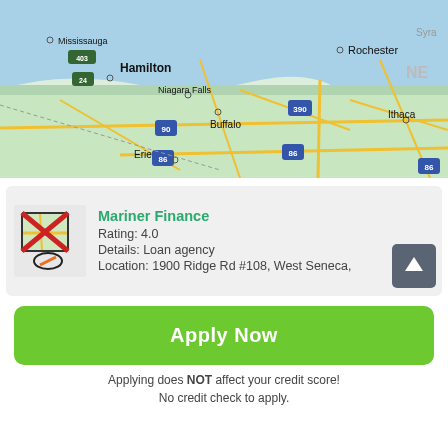[Figure (map): Google Maps view showing region around Hamilton, Niagara Falls, Buffalo, Erie, Rochester, Ithaca with highway markers I-90, I-86, I-390, Hwy 403, Hwy 24]
Mariner Finance
Rating: 4.0
Details: Loan agency
Location: 1900 Ridge Rd #108, West Seneca,
Apply Now
Applying does NOT affect your credit score!
No credit check to apply.